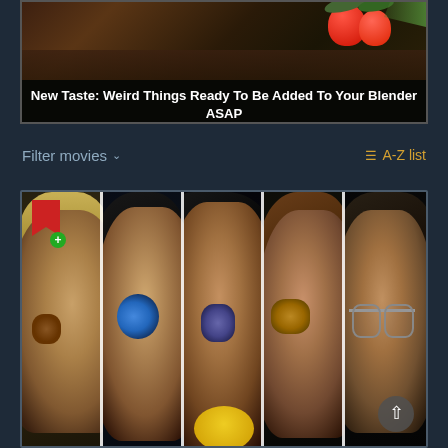[Figure (photo): Top banner ad with food/strawberries image and caption overlay: 'New Taste: Weird Things Ready To Be Added To Your Blender ASAP']
New Taste: Weird Things Ready To Be Added To Your Blender ASAP
Filter movies ∨
≡ A-Z list
[Figure (illustration): Anime movie card showing five anime characters in vertical panels separated by white lines. A red bookmark icon with green plus is in the top-left corner. A scroll-up button is in the bottom-right. A yellow circle partially visible at the bottom center.]